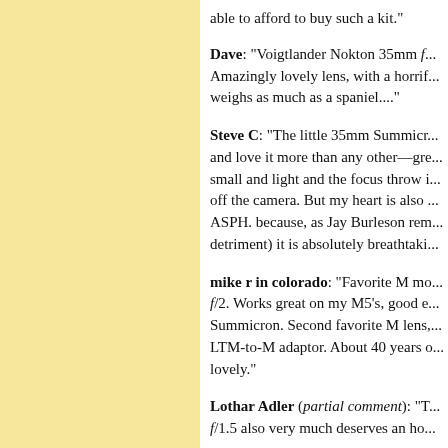able to afford to buy such a kit."
Dave: "Voigtlander Nokton 35mm f... Amazingly lovely lens, with a horrif... weighs as much as a spaniel...."
Steve C: "The little 35mm Summicr... and love it more than any other—gre... small and light and the focus throw i... off the camera. But my heart is also ... ASPH. because, as Jay Burleson rem... detriment) it is absolutely breathtaki...
mike r in colorado: "Favorite M mo... f/2. Works great on my M5's, good e... Summicron. Second favorite M lens,... LTM-to-M adaptor. About 40 years o... lovely."
Lothar Adler (partial comment): "T... f/1.5 also very much deserves an ho...